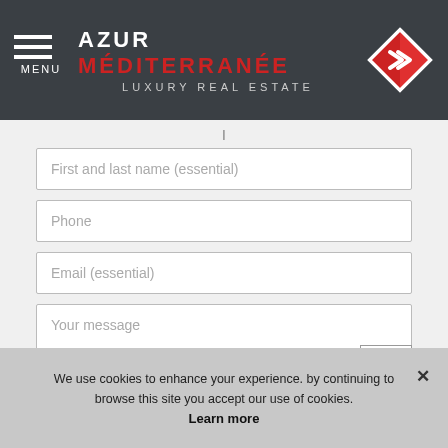MENU | AZUR MÉDITERRANÉE LUXURY REAL ESTATE
[Figure (logo): Red and white diamond/chevron logo for Azur Méditerranée Luxury Real Estate]
First and last name (essential)
Phone
Email (essential)
Your message
I have read and accept terms of The privacy policy
We use cookies to enhance your experience. by continuing to browse this site you accept our use of cookies. Learn more